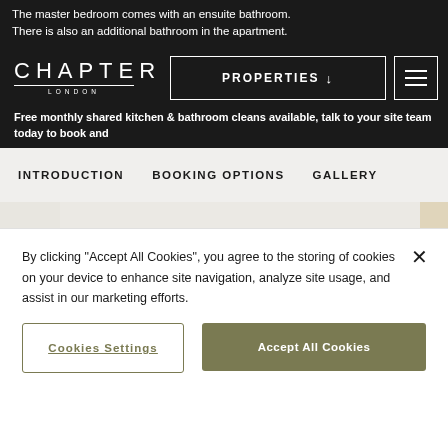The master bedroom comes with an ensuite bathroom. There is also an additional bathroom in the apartment.
[Figure (logo): CHAPTER LONDON logo in white on dark background]
PROPERTIES ↓
Free monthly shared kitchen & bathroom cleans available, talk to your site team today to book and
INTRODUCTION   BOOKING OPTIONS   GALLERY
[Figure (photo): Interior photo of a bright white room with artwork on wall and doorway visible]
By clicking “Accept All Cookies”, you agree to the storing of cookies on your device to enhance site navigation, analyze site usage, and assist in our marketing efforts.
Cookies Settings
Accept All Cookies